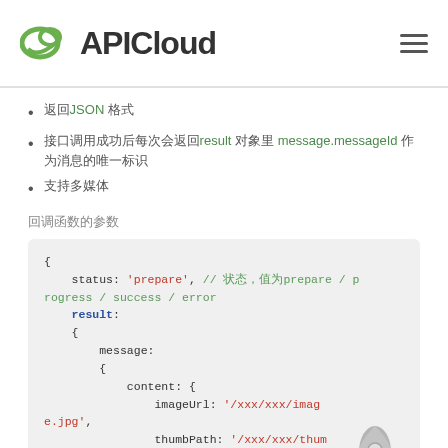APICloud
返回JSON 格式
接口调用成功后每次会返回result 对象里 message.messageId 作为消息的唯一标识
支持多媒体
回调函数的参数
[Figure (screenshot): Code block showing JSON-like structure with status: 'prepare', result, message, content, imageUrl, thumbPath, extra fields in syntax-highlighted monospace font]